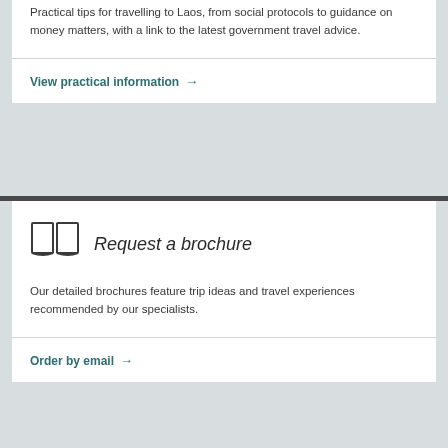Practical tips for travelling to Laos, from social protocols to guidance on money matters, with a link to the latest government travel advice.
View practical information →
Request a brochure
Our detailed brochures feature trip ideas and travel experiences recommended by our specialists.
Order by email →